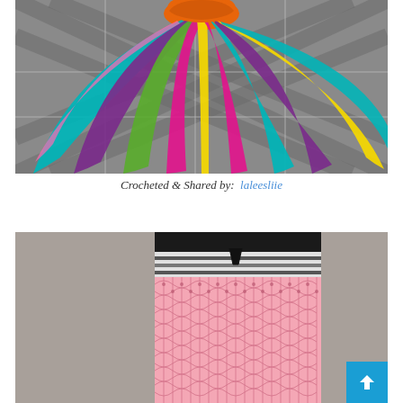[Figure (photo): A colorful crocheted rainbow skirt/dress laid flat on a gray plaid fabric background. The item has multiple brightly colored yarn stripes radiating outward including pink, yellow, purple, green, teal, and magenta.]
Crocheted & Shared by:  laleesliie
[Figure (photo): A close-up photo of a pink mesh/fishnet knitted bag or pouch with black and white striped trim at the top, placed on a gray fuzzy surface.]